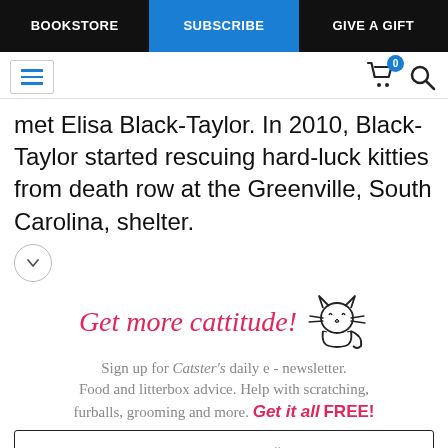BOOKSTORE | SUBSCRIBE | GIVE A GIFT
met Elisa Black-Taylor. In 2010, Black-Taylor started rescuing hard-luck kitties from death row at the Greenville, South Carolina, shelter.
[Figure (illustration): Decorative cat illustration (line drawing of a happy cat with motion lines)]
Get more cattitude!
Sign up for Catster's daily e - newsletter. Food and litterbox advice. Help with scratching, furballs, grooming and more. Get it all FREE!
Enter your Email
YES! SIGN ME UP